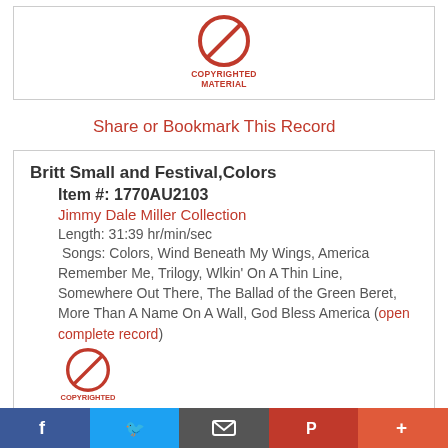[Figure (logo): Copyrighted material no-symbol icon (red circle with slash)]
Share or Bookmark This Record
Britt Small and Festival,Colors
Item #: 1770AU2103
Jimmy Dale Miller Collection
Length: 31:39 hr/min/sec
Songs: Colors, Wind Beneath My Wings, America Remember Me, Trilogy, Wlkin' On A Thin Line, Somewhere Out There, The Ballad of the Green Beret, More Than A Name On A Wall, God Bless America (open complete record)
[Figure (logo): Copyrighted material no-symbol icon (red circle with slash)]